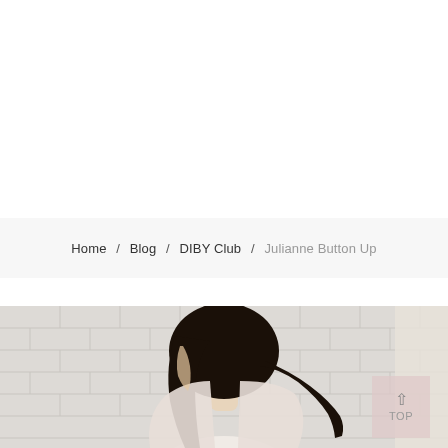Home / Blog / DIBY Club / Julianne Button Up
[Figure (photo): Photograph of a person with dark hair pulled back, shown from behind/side against a white brick wall background. A pink/rose 'TOP' scroll button overlay appears in the lower right corner of the image.]